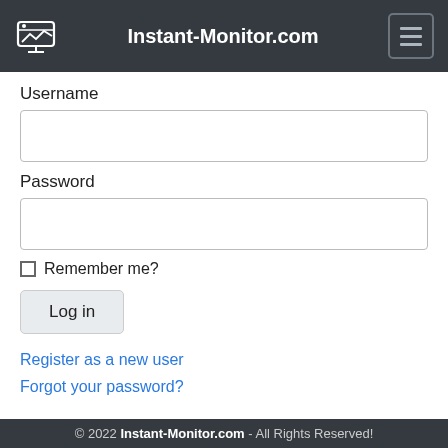Instant-Monitor.com
Username
Password
Remember me?
Log in
Register as a new user
Forgot your password?
$ Register / Login via ISP
UNDER INSURANCE
© 2022 Instant-Monitor.com - All Rights Reserved!